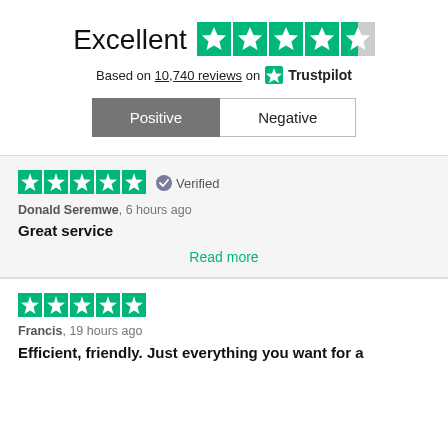Excellent — 4.5 stars out of 5
Based on 10,740 reviews on Trustpilot
Positive | Negative (buttons)
[Figure (other): Five green star rating with Verified badge — Donald Seremwe, 6 hours ago]
Donald Seremwe, 6 hours ago
Great service
Read more
[Figure (other): Five green star rating — Francis, 19 hours ago]
Francis, 19 hours ago
Efficient, friendly. Just everything you want for a